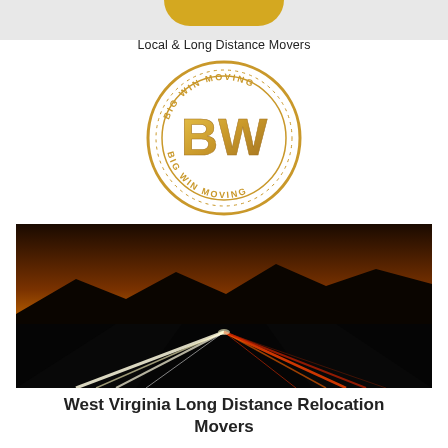Local & Long Distance Movers
[Figure (logo): Big Win Moving circular gold logo with BW initials in the center and text 'BIG WIN MOVING' around the ring]
[Figure (photo): Long exposure night highway photo with light trails from vehicles against a sunset sky with mountains silhouetted]
West Virginia Long Distance Relocation Movers